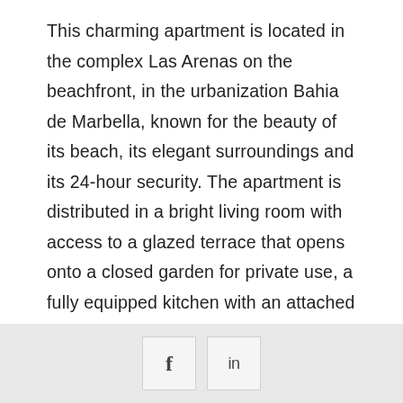This charming apartment is located in the complex Las Arenas on the beachfront, in the urbanization Bahia de Marbella, known for the beauty of its beach, its elegant surroundings and its 24-hour security. The apartment is distributed in a bright living room with access to a glazed terrace that opens onto a closed garden for private use, a fully equipped kitchen with an attached laundry room, two bedrooms and two bathrooms, one of them en-suite. The apartment is equipped with wooden floors, air conditioning h/c, underfloor
f  in